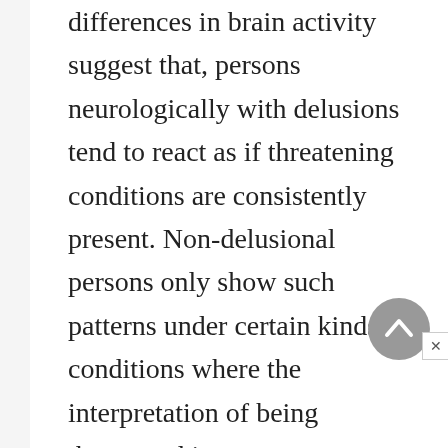differences in brain activity suggest that, persons neurologically with delusions tend to react as if threatening conditions are consistently present. Non-delusional persons only show such patterns under certain kinds of conditions where the interpretation of being threatened is more accurate. With both brain activity evidence and family heritability evidence, a strong chance exists that there is a biological aspect to delusional disorder.